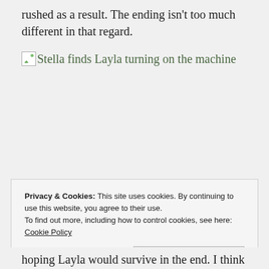rushed as a result. The ending isn't too much different in that regard.
[Figure (illustration): Broken image placeholder with alt text: Stella finds Layla turning on the machine]
Privacy & Cookies: This site uses cookies. By continuing to use this website, you agree to their use.
To find out more, including how to control cookies, see here:
Cookie Policy
hoping Layla would survive in the end. I think